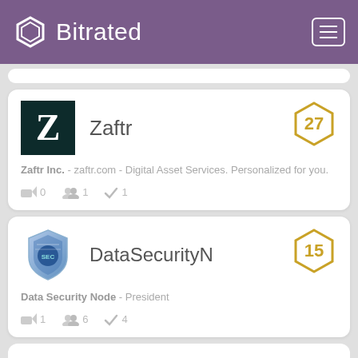Bitrated
Zaftr
Zaftr Inc. - zaftr.com - Digital Asset Services. Personalized for you.
0  1  1
DataSecurityN
Data Security Node - President
1  6  4